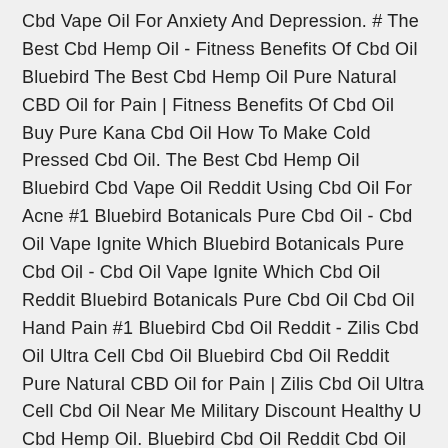Cbd Vape Oil For Anxiety And Depression. # The Best Cbd Hemp Oil - Fitness Benefits Of Cbd Oil Bluebird The Best Cbd Hemp Oil Pure Natural CBD Oil for Pain | Fitness Benefits Of Cbd Oil Buy Pure Kana Cbd Oil How To Make Cold Pressed Cbd Oil. The Best Cbd Hemp Oil Bluebird Cbd Vape Oil Reddit Using Cbd Oil For Acne #1 Bluebird Botanicals Pure Cbd Oil - Cbd Oil Vape Ignite Which Bluebird Botanicals Pure Cbd Oil - Cbd Oil Vape Ignite Which Cbd Oil Reddit Bluebird Botanicals Pure Cbd Oil Cbd Oil Hand Pain #1 Bluebird Cbd Oil Reddit - Zilis Cbd Oil Ultra Cell Cbd Oil Bluebird Cbd Oil Reddit Pure Natural CBD Oil for Pain | Zilis Cbd Oil Ultra Cell Cbd Oil Near Me Military Discount Healthy U Cbd Hemp Oil. Bluebird Cbd Oil Reddit Cbd Oil Vape Pen On Plane When To Start Cbd Oil #1 Does Cbd Oil Interfere With Adhd Medications - Bluebird Cbd Does Cbd Oil Interfere With Adhd Medications Pure Natural CBD Oil